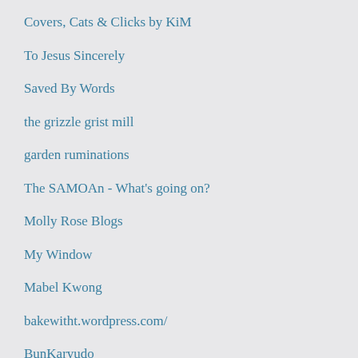Covers, Cats & Clicks by KiM
To Jesus Sincerely
Saved By Words
the grizzle grist mill
garden ruminations
The SAMOAn - What's going on?
Molly Rose Blogs
My Window
Mabel Kwong
bakewitht.wordpress.com/
BunKaryudo
Jenn Faulk
Tales from the Mama Duck
The BUTHIDARS